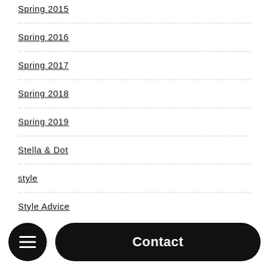Spring 2015
Spring 2016
Spring 2017
Spring 2018
Spring 2019
Stella & Dot
style
Style Advice
Contact